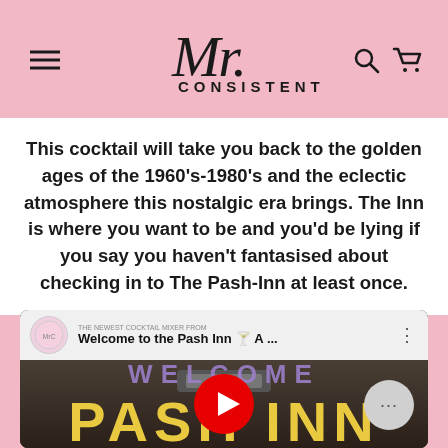Mr. Consistent — navigation header with hamburger menu, logo, search and cart icons
This cocktail will take you back to the golden ages of the 1960's-1980's and the eclectic atmosphere this nostalgic era brings. The Inn is where you want to be and you'd be lying if you say you haven't fantasised about checking in to The Pash-Inn at least once.
[Figure (screenshot): YouTube video embed thumbnail showing 'Welcome to the Pash Inn 🍸 A ...' with WELCOME and PASH INN text overlay and YouTube play button, from Mr. Consistent cocktail mixer channel]